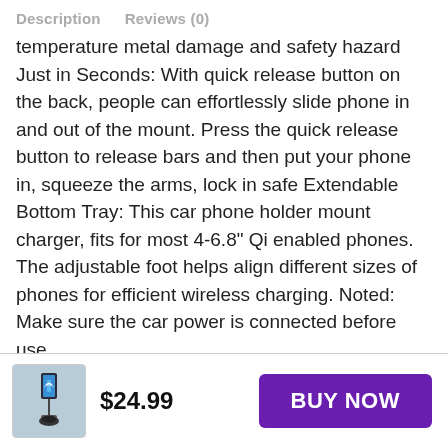Description   Reviews (0)
temperature metal damage and safety hazard Just in Seconds: With quick release button on the back, people can effortlessly slide phone in and out of the mount. Press the quick release button to release bars and then put your phone in, squeeze the arms, lock in safe Extendable Bottom Tray: This car phone holder mount charger, fits for most 4-6.8" Qi enabled phones. The adjustable foot helps align different sizes of phones for efficient wireless charging. Noted: Make sure the car power is connected before use
[Figure (photo): Small thumbnail image of a car phone mount holder product]
$24.99
BUY NOW